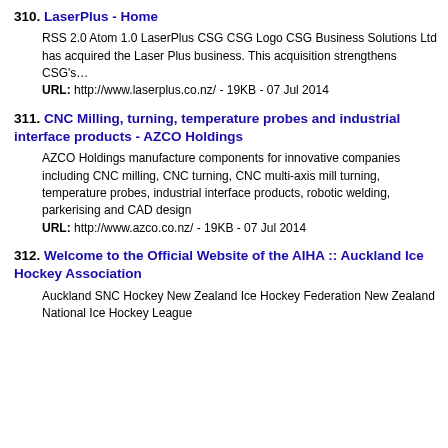310. LaserPlus - Home
RSS 2.0 Atom 1.0 LaserPlus CSG CSG Logo CSG Business Solutions Ltd has acquired the Laser Plus business. This acquisition strengthens CSG's…
URL: http://www.laserplus.co.nz/ - 19KB - 07 Jul 2014
311. CNC Milling, turning, temperature probes and industrial interface products - AZCO Holdings
AZCO Holdings manufacture components for innovative companies including CNC milling, CNC turning, CNC multi-axis mill turning, temperature probes, industrial interface products, robotic welding, parkerising and CAD design
URL: http://www.azco.co.nz/ - 19KB - 07 Jul 2014
312. Welcome to the Official Website of the AIHA :: Auckland Ice Hockey Association
Auckland SNC Hockey New Zealand Ice Hockey Federation New Zealand National Ice Hockey League